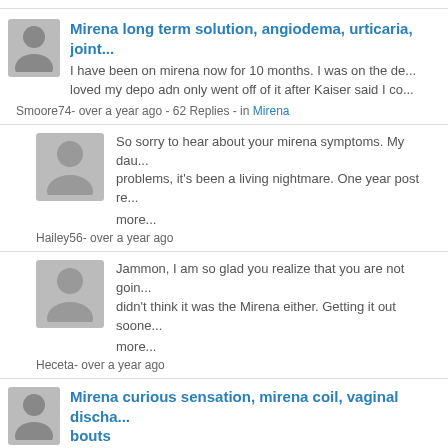Mirena long term solution, angiodema, urticaria, joint...
I have been on mirena now for 10 months. I was on the de... loved my depo adn only went off of it after Kaiser said I co...
Smoore74- over a year ago - 62 Replies - in Mirena
So sorry to hear about your mirena symptoms. My dau... problems, it's been a living nightmare. One year post re...
more...
Hailey56- over a year ago
Jammon, I am so glad you realize that you are not goin... didn't think it was the Mirena either. Getting it out soone...
more...
Heceta- over a year ago
Mirena curious sensation, mirena coil, vaginal discha... bouts
I'm 34 and my children are 3 and 5 years old. I had my Mi... 2007, so have now had it just over a year. During that time, I've a...